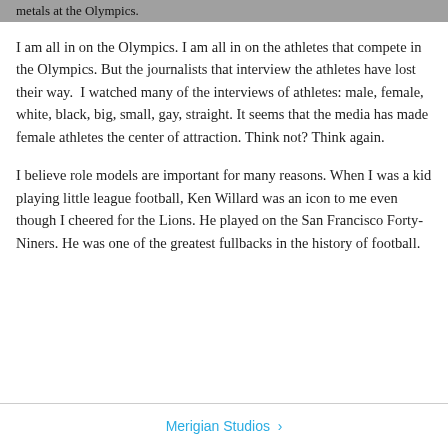metals at the Olympics.
I am all in on the Olympics. I am all in on the athletes that compete in the Olympics. But the journalists that interview the athletes have lost their way. I watched many of the interviews of athletes: male, female, white, black, big, small, gay, straight. It seems that the media has made female athletes the center of attraction. Think not? Think again.
I believe role models are important for many reasons. When I was a kid playing little league football, Ken Willard was an icon to me even though I cheered for the Lions. He played on the San Francisco Forty-Niners. He was one of the greatest fullbacks in the history of football.
Merigian Studios >